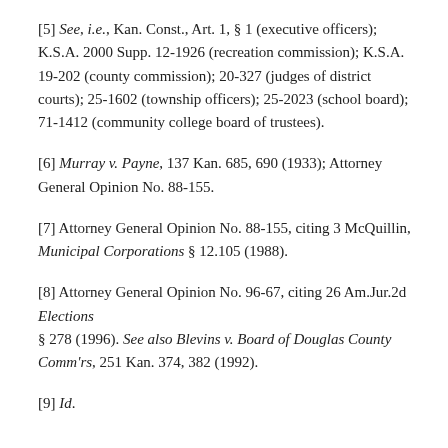[5] See, i.e., Kan. Const., Art. 1, § 1 (executive officers); K.S.A. 2000 Supp. 12-1926 (recreation commission); K.S.A. 19-202 (county commission); 20-327 (judges of district courts); 25-1602 (township officers); 25-2023 (school board); 71-1412 (community college board of trustees).
[6] Murray v. Payne, 137 Kan. 685, 690 (1933); Attorney General Opinion No. 88-155.
[7] Attorney General Opinion No. 88-155, citing 3 McQuillin, Municipal Corporations § 12.105 (1988).
[8] Attorney General Opinion No. 96-67, citing 26 Am.Jur.2d Elections § 278 (1996). See also Blevins v. Board of Douglas County Comm'rs, 251 Kan. 374, 382 (1992).
[9] Id.